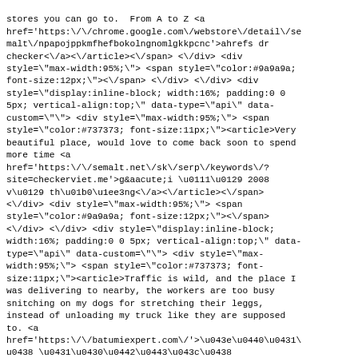stores you can go to. From A to Z <a href='https:\/\/chrome.google.com\/webstore\/detail\/semalt\/npapojppkmfhefbokolngnomlgkkpcnc'>ahrefs dr checker<\/a><\/article><\/span> <\/div> <div style="max-width:95%;"> <span style="color:#9a9a9a; font-size:12px;"><\/span> <\/div> <\/div> <div style="display:inline-block; width:16%; padding:0 0 5px; vertical-align:top;" data-type="api" data-custom=""> <div style="max-width:95%;"> <span style="color:#737373; font-size:11px;"><article>Very beautiful place, would love to come back soon to spend more time <a href='https:\/\/semalt.net\/sk\/serp\/keywords\/?site=checkerviet.me'>g&aacute;i \u0111\u0129 2008 v\u0129 th\u01b0\u1ee3ng<\/a><\/article><\/span> <\/div> <div style="max-width:95%;"> <span style="color:#9a9a9a; font-size:12px;"><\/span> <\/div> <\/div> <div style="display:inline-block; width:16%; padding:0 0 5px; vertical-align:top;" data-type="api" data-custom=""> <div style="max-width:95%;"> <span style="color:#737373; font-size:11px;"><article>Traffic is wild, and the place I was delivering to nearby, the workers are too busy snitching on my dogs for stretching their leggs, instead of unloading my truck like they are supposed to. <a href='https:\/\/batumiexpert.com\/>\u043e\u0440\u0431\u0438 \u0431\u0430\u0442\u0443\u043c\u0438 \u0441\u043d\u044f\u0442\u044c \u043a\u0432\u0430\u0440\u0442\u0438\u0440\u0443<\/a>